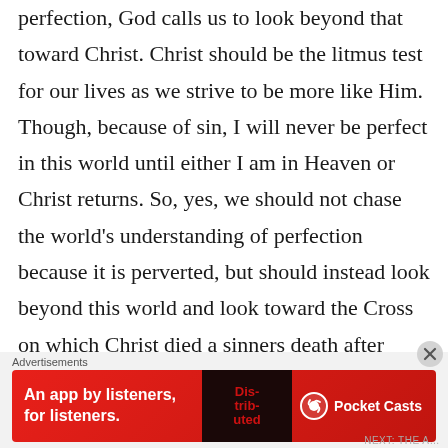perfection, God calls us to look beyond that toward Christ. Christ should be the litmus test for our lives as we strive to be more like Him. Though, because of sin, I will never be perfect in this world until either I am in Heaven or Christ returns. So, yes, we should not chase the world's understanding of perfection because it is perverted, but should instead look beyond this world and look toward the Cross on which Christ died a sinners death after living sinlessly, the true
Advertisements
[Figure (infographic): Red advertisement banner for Pocket Casts app: 'An app by listeners, for listeners.' with Pocket Casts logo and a phone showing 'Distributed' text]